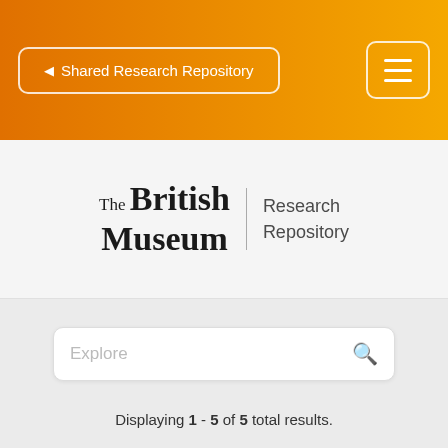◀ Shared Research Repository
[Figure (logo): The British Museum Research Repository logo — serif wordmark 'The British Museum' with sans-serif 'Research Repository' to the right, separated by a vertical line]
Explore [search box]
Displaying 1 - 5 of 5 total results.
Sort by relevance ▾